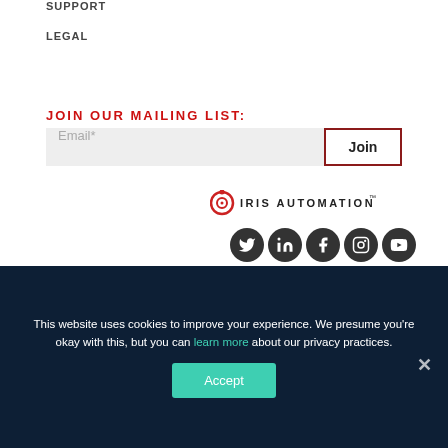SUPPORT
LEGAL
JOIN OUR MAILING LIST:
[Figure (screenshot): Email input field with placeholder text 'Email*' and a Join button with dark red border]
[Figure (logo): Iris Automation logo with red circular icon and text 'IRIS AUTOMATION']
[Figure (infographic): Row of 5 social media icons (Twitter, LinkedIn, Facebook, Instagram, YouTube) as dark circular buttons]
This website uses cookies to improve your experience. We presume you're okay with this, but you can learn more about our privacy practices.
Accept